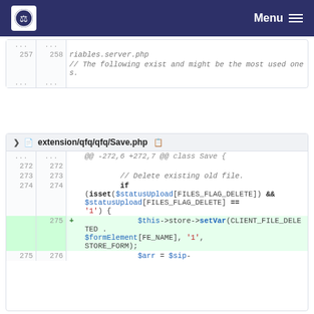Menu
[Figure (screenshot): Code diff block 1: showing lines 257, 258 with riables.server.php and comment about existing variables]
[Figure (screenshot): Code diff block 2: extension/qfq/qfq/Save.php showing lines 272-276 with PHP code for deleting existing old file and setVar call]